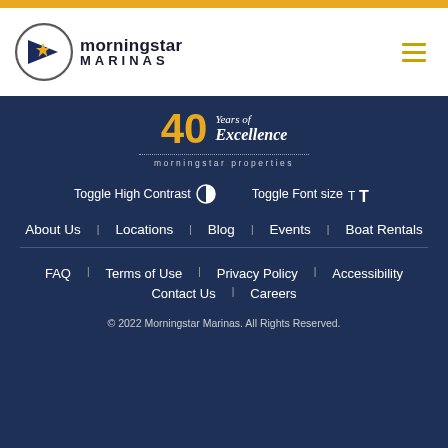[Figure (logo): Morningstar Marinas logo with pennant flag icon showing a star, next to text 'morningstar MARINAS']
[Figure (logo): 40 Years of Excellence morningstar properties badge]
Toggle High Contrast   Toggle Font size
About Us   Locations   Blog   Events   Boat Rentals
FAQ   Terms of Use   Privacy Policy   Accessibility   Contact Us   Careers
© 2022 Morningstar Marinas. All Rights Reserved.